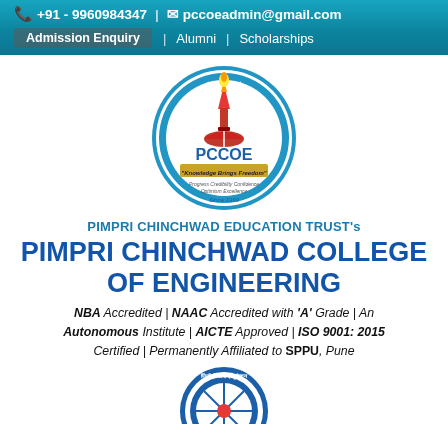+91 - 9960984347 | pccoeadmin@gmail.com
Admission Enquiry | Alumni | Scholarships
[Figure (logo): PCCOE circular logo - PCET's Pimpri Chinchwad College of Engineering, with torch flame, open book, stars, motto 'Knowledge Brings Freedom', Since 1999]
PIMPRI CHINCHWAD EDUCATION TRUST's
PIMPRI CHINCHWAD COLLEGE OF ENGINEERING
NBA Accredited | NAAC Accredited with 'A' Grade | An Autonomous Institute | AICTE Approved | ISO 9001: 2015 Certified | Permanently Affiliated to SPPU, Pune
[Figure (logo): Pimpri Chinchwad Education Trust circular seal logo, partially visible at bottom]